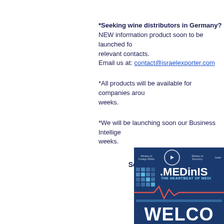*Seeking wine distributors in Germany? NEW information product soon to be launched for relevant contacts. Email us at: contact@israelexporter.com
*All products will be available for companies around the world in a few weeks.
*We will be launching soon our Business Intelligence product in a few weeks.
Some Pictures of th
Moshe visitin
[Figure (photo): MEDinISRAEL conference welcome banner with blue background, heartbeat line graphic, Ministry of Economy logos, and WELCOME text]